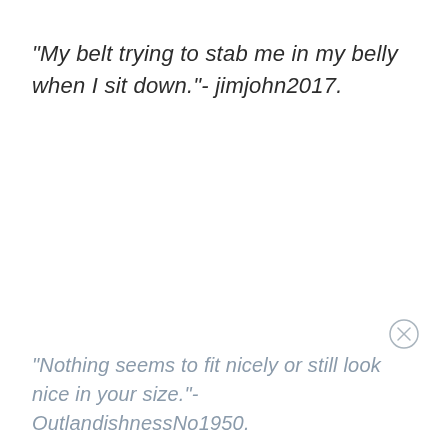"My belt trying to stab me in my belly when I sit down."- jimjohn2017.
"Nothing seems to fit nicely or still look nice in your size."- OutlandishnessNo1950.